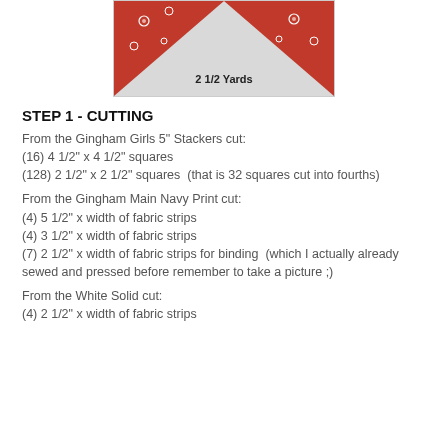[Figure (photo): Two red floral fabric triangles on a gray background with caption '2 1/2 Yards']
STEP 1 - CUTTING
From the Gingham Girls 5" Stackers cut:
(16) 4 1/2" x 4 1/2" squares
(128) 2 1/2" x 2 1/2" squares  (that is 32 squares cut into fourths)
From the Gingham Main Navy Print cut:
(4) 5 1/2" x width of fabric strips
(4) 3 1/2" x width of fabric strips
(7) 2 1/2" x width of fabric strips for binding  (which I actually already sewed and pressed before remember to take a picture ;)
From the White Solid cut:
(4) 2 1/2" x width of fabric strips